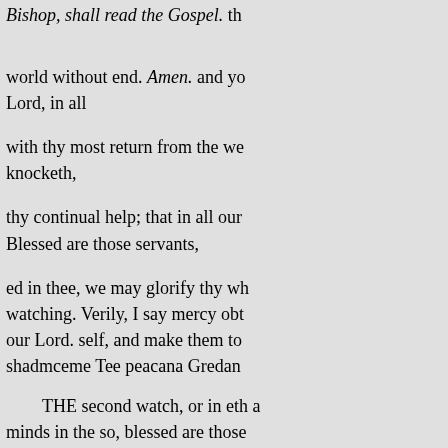Bishop, shall read the Gospel. th
world without end. Amen. and yo Lord, in all
with thy most return from the we knocketh,
thy continual help; that in all our Blessed are those servants,
ed in thee, we may glorify thy wh watching. Verily, I say mercy obt our Lord. self, and make them to shadmceme Tee peacana Gredan
THE second watch, or in eth a minds in the so, blessed are those in
of his Son Jesus Christ our Lord AlmighOrdered shall tarry, and a Ghost, bé amongst you, and day
(And here it must be declared un